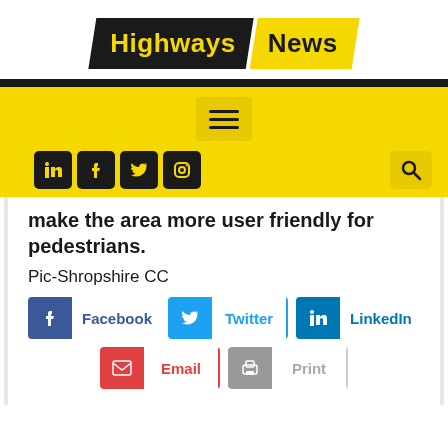[Figure (logo): Highways News logo with black parallelogram for 'Highways' in yellow text and yellow parallelogram for 'News' in black text]
make the area more user friendly for pedestrians.
Pic-Shropshire CC
Share buttons: Facebook, Twitter, LinkedIn, Email, Print